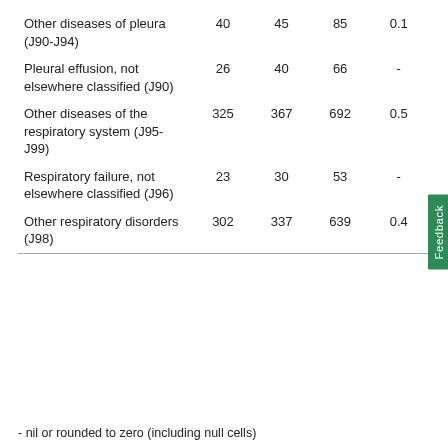|  | Male | Female | Persons | % |
| --- | --- | --- | --- | --- |
| Other diseases of pleura (J90-J94) | 40 | 45 | 85 | 0.1 |
| Pleural effusion, not elsewhere classified (J90) | 26 | 40 | 66 | - |
| Other diseases of the respiratory system (J95-J99) | 325 | 367 | 692 | 0.5 |
| Respiratory failure, not elsewhere classified (J96) | 23 | 30 | 53 | - |
| Other respiratory disorders (J98) | 302 | 337 | 639 | 0.4 |
- nil or rounded to zero (including null cells)